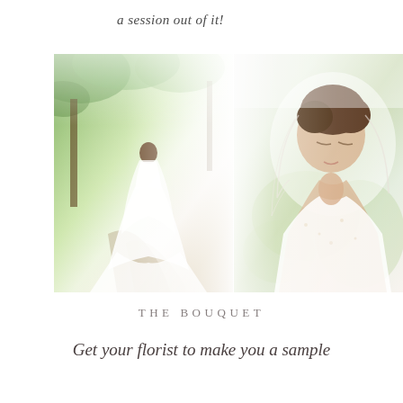a session out of it!
[Figure (photo): Two wedding photos side by side: left shows a bride in a white gown with a long train standing on a path surrounded by trees; right shows a close-up portrait of a bride with an updo hairstyle and lace dress looking down]
THE BOUQUET
Get your florist to make you a sample